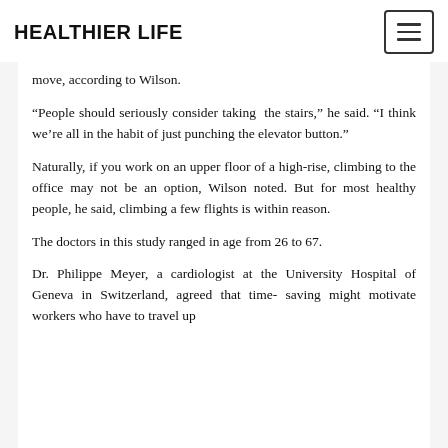HEALTHIER LIFE
move, according to Wilson.
“People should seriously consider taking the stairs,” he said. “I think we’re all in the habit of just punching the elevator button.”
Naturally, if you work on an upper floor of a high-rise, climbing to the office may not be an option, Wilson noted. But for most healthy people, he said, climbing a few flights is within reason.
The doctors in this study ranged in age from 26 to 67.
Dr. Philippe Meyer, a cardiologist at the University Hospital of Geneva in Switzerland, agreed that time-saving might motivate workers who have to travel up